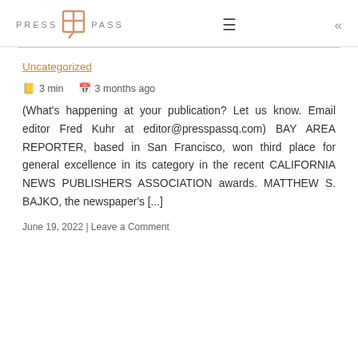PRESS PASS
Uncategorized
3 min   3 months ago
(What's happening at your publication? Let us know. Email editor Fred Kuhr at editor@presspassq.com) BAY AREA REPORTER, based in San Francisco, won third place for general excellence in its category in the recent CALIFORNIA NEWS PUBLISHERS ASSOCIATION awards. MATTHEW S. BAJKO, the newspaper's [...]
June 19, 2022 | Leave a Comment